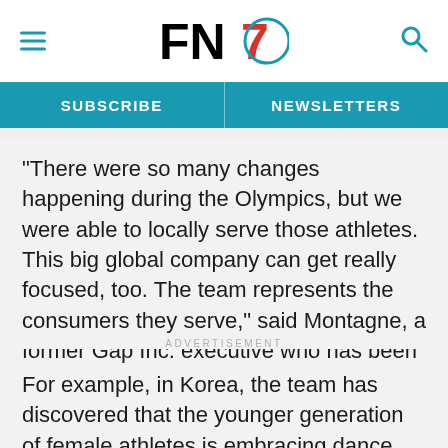FN7 [logo header with hamburger menu and search icon]
SUBSCRIBE | NEWSLETTERS
“There were so many changes happening during the Olympics, but we were able to locally serve those athletes. This big global company can get really focused, too. The team represents the consumers they serve,” said Montagne, a former Gap Inc. executive who has been with Nike for 17 years.
ADVERTISEMENT
For example, in Korea, the team has discovered that the younger generation of female athletes is embracing dance like never before. “Yes, running is important. Some are playing football. But they also see sport as